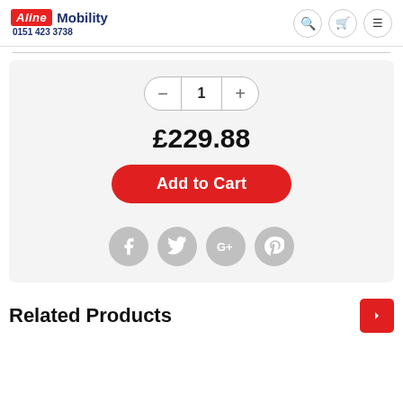Aline Mobility 0151 423 3738
1
£229.88
Add to Cart
[Figure (illustration): Social media share icons: Facebook, Twitter, Google+, Pinterest — grey circular icons]
Related Products